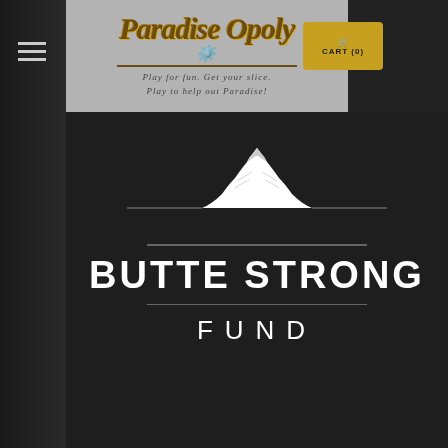[Figure (logo): ParadiseOpoly website header with script logo, tagline 'Play for fun. Get your slice. Play to help out Paradise!' and a cart button]
[Figure (logo): Butte Strong Fund logo with mountain illustration, horizontal divider lines, bold white text 'BUTTE STRONG' and lighter text 'FUND' on dark background]